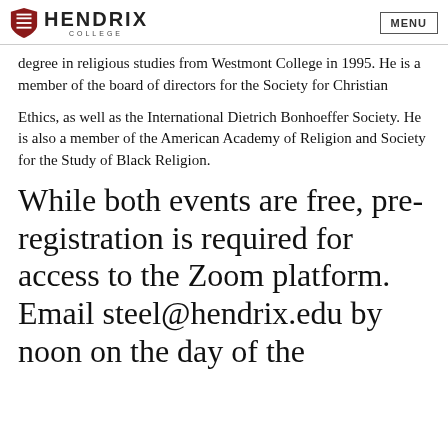HENDRIX COLLEGE | MENU
degree in religious studies from Westmont College in 1995. He is a member of the board of directors for the Society for Christian
Ethics, as well as the International Dietrich Bonhoeffer Society. He is also a member of the American Academy of Religion and Society for the Study of Black Religion.
While both events are free, pre-registration is required for access to the Zoom platform. Email steel@hendrix.edu by noon on the day of the